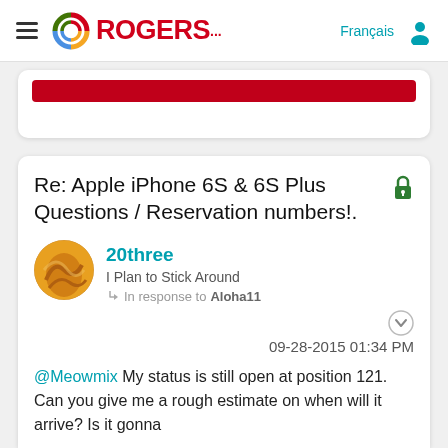Rogers — Français navigation bar
[Figure (screenshot): Partial card with red button bar visible at top]
Re: Apple iPhone 6S & 6S Plus Questions / Reservation numbers!.
20three — I Plan to Stick Around — In response to Aloha11 — 09-28-2015 01:34 PM
@Meowmix My status is still open at position 121. Can you give me a rough estimate on when will it arrive? Is it gonna